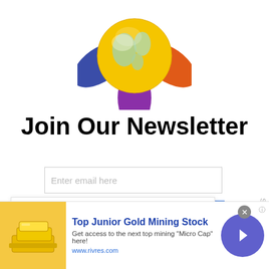[Figure (logo): Colorful globe logo with orange, blue, purple, and red petal shapes around a yellow-green globe]
Join Our Newsletter
Enter email here
Our site uses cookies. Learn more about our use of cookies: cookie policy
[Figure (photo): Advertisement: Top Junior Gold Mining Stock - Get access to the next top mining "Micro Cap" here! www.rivres.com]